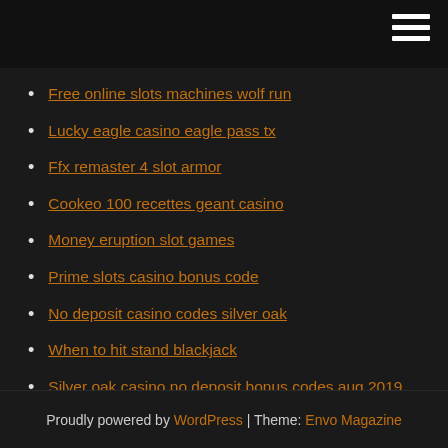Free online slots machines wolf run
Lucky eagle casino eagle pass tx
Ffx remaster 4 slot armor
Cookeo 100 recettes geant casino
Money eruption slot games
Prime slots casino bonus code
No deposit casino codes silver oak
When to hit stand blackjack
Silver oak casino no deposit bonus codes aug 2019
Casino jack documentary online free
Game grumps wheel of fortune 3
Proudly powered by WordPress | Theme: Envo Magazine